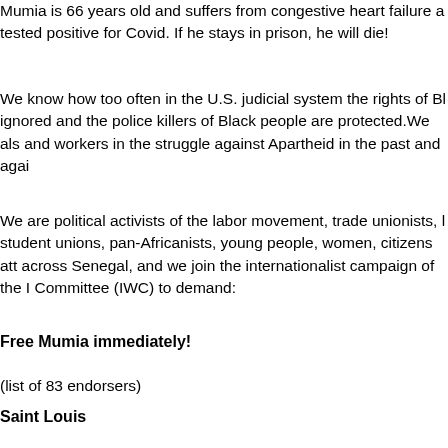Mumia is 66 years old and suffers from congestive heart failure and tested positive for Covid. If he stays in prison, he will die!
We know how too often in the U.S. judicial system the rights of Black people are ignored and the police killers of Black people are protected. We also know the role of workers in the struggle against Apartheid in the past and again...
We are political activists of the labor movement, trade unionists, leaders of student unions, pan-Africanists, young people, women, citizens at across Senegal, and we join the internationalist campaign of the International Committee (IWC) to demand:
Free Mumia immediately!
(list of 83 endorsers)
Saint Louis
Université Gaston Berger ; Boubacar Sow président amicale étudi..., Babacar Diouf juriste, Serge Mané étudiant infographiste, Mama... Guedj Gueye étudiant en agronomie, Ibrahima Seck étudiant en pr...